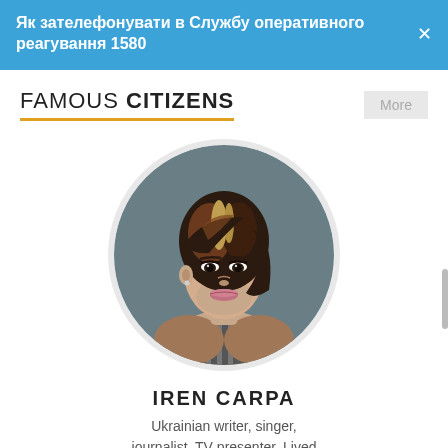Як зателефонувати в Службу оперативного реагування 1580
FAMOUS CITIZENS
[Figure (photo): Circular portrait photo of Iren Carpa, a woman with short dark brown layered hair with highlights, wearing a striped outfit, against a dark grey background.]
IREN CARPA
Ukrainian writer, singer, journalist, TV presenter. Lived in the city ...